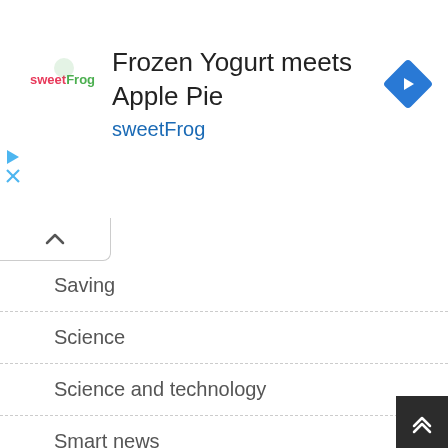[Figure (advertisement): sweetFrog frozen yogurt ad banner with logo, title 'Frozen Yogurt meets Apple Pie', subtitle 'sweetFrog', and navigation arrow icon]
Saving
Science
Science and technology
Smart news
Smart watch Reviews
Sony News
Technologies
Technology